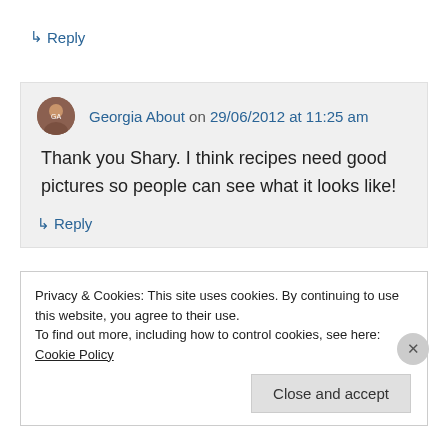↳ Reply
Georgia About on 29/06/2012 at 11:25 am
Thank you Shary. I think recipes need good pictures so people can see what it looks like!
↳ Reply
Privacy & Cookies: This site uses cookies. By continuing to use this website, you agree to their use.
To find out more, including how to control cookies, see here: Cookie Policy
Close and accept